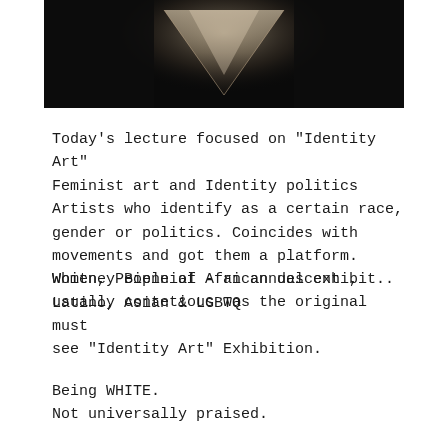[Figure (photo): Dark photograph with a triangular/downward pointing shape illuminated against a black background, resembling a book or angular form.]
Today's lecture focused on "Identity Art" Feminist art and Identity politics Artists who identify as a certain race, gender or politics. Coincides with movements and got them a platform. Women, People of African descent , Latino, Asian & LGBTQ
Whitney Biennial - an annual exhibit.. usually contetious was the original must see "Identity Art" Exhibition.
Being WHITE.
Not universally praised.